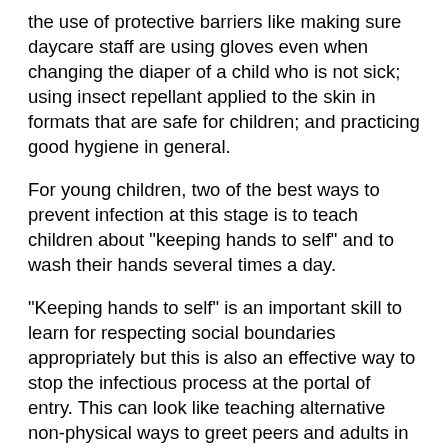the use of protective barriers like making sure daycare staff are using gloves even when changing the diaper of a child who is not sick; using insect repellant applied to the skin in formats that are safe for children; and practicing good hygiene in general.
For young children, two of the best ways to prevent infection at this stage is to teach children about "keeping hands to self" and to wash their hands several times a day.
"Keeping hands to self" is an important skill to learn for respecting social boundaries appropriately but this is also an effective way to stop the infectious process at the portal of entry. This can look like teaching alternative non-physical ways to greet peers and adults in unfamiliar community settings where pathogens are unknown and potentially more likely to cause infection than in the child's familiar home and school environments, such as waving or verbally saying "hi." This can also look like teaching the difference between items that are okay to touch and items that are not okay to touch from a young age.